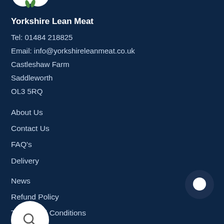[Figure (logo): Partial logo visible at top of page]
Yorkshire Lean Meat
Tel: 01484 218825
Email: info@yorkshireleanmeat.co.uk
Castleshaw Farm
Saddleworth
OL3 5RQ
About Us
Contact Us
FAQ's
Delivery
News
Refund Policy
Terms and Conditions
Privacy Policy